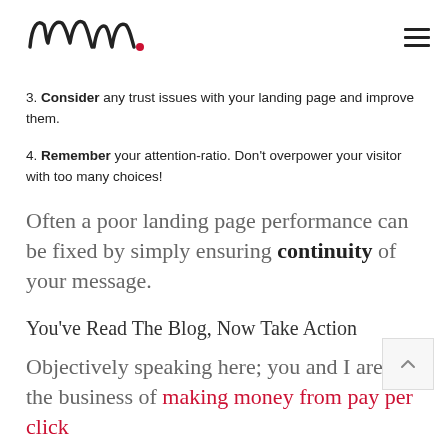Mm. [logo]
3. Consider any trust issues with your landing page and improve them.
4. Remember your attention-ratio. Don't overpower your visitor with too many choices!
Often a poor landing page performance can be fixed by simply ensuring continuity of your message.
You've Read The Blog, Now Take Action
Objectively speaking here; you and I are in the business of making money from pay per click